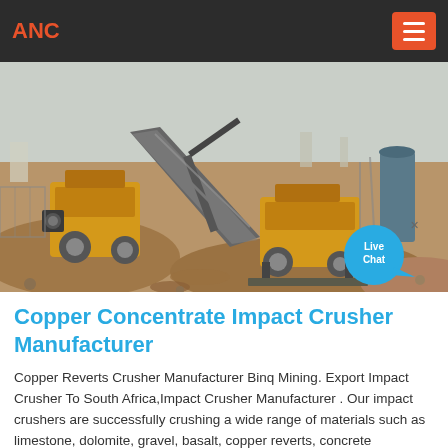ANC
[Figure (photo): Outdoor photograph of a copper concentrate impact crusher plant with yellow industrial crushing machines, conveyor belts, and mining equipment on a dirt terrain under a hazy sky. A Live Chat bubble is overlaid in the bottom-right corner.]
Copper Concentrate Impact Crusher Manufacturer
Copper Reverts Crusher Manufacturer Binq Mining. Export Impact Crusher To South Africa,Impact Crusher Manufacturer . Our impact crushers are successfully crushing a wide range of materials such as limestone, dolomite, gravel, basalt, copper reverts, concrete